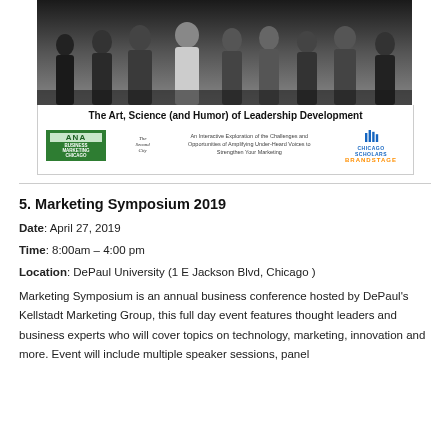[Figure (photo): Black and white group photo of people standing on a stage]
The Art, Science (and Humor) of Leadership Development
An Interactive Exploration of the Challenges and Opportunities of Amplifying Under-Heard Voices to Strengthen Your Marketing
5. Marketing Symposium 2019
Date: April 27, 2019
Time: 8:00am – 4:00 pm
Location: DePaul University (1 E Jackson Blvd, Chicago )
Marketing Symposium is an annual business conference hosted by DePaul's Kellstadt Marketing Group, this full day event features thought leaders and business experts who will cover topics on technology, marketing, innovation and more. Event will include multiple speaker sessions, panel